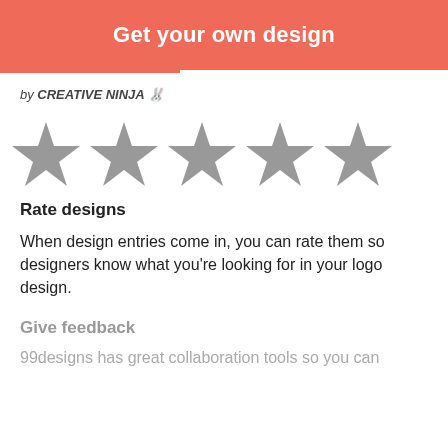Get your own design
[Figure (infographic): Five gray star rating icons in a horizontal row]
by CREATIVE NINJA 🔲
Rate designs
When design entries come in, you can rate them so designers know what you're looking for in your logo design.
Give feedback
99designs has great collaboration tools so you can